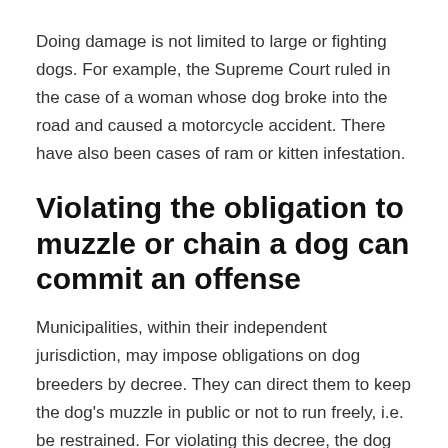Doing damage is not limited to large or fighting dogs. For example, the Supreme Court ruled in the case of a woman whose dog broke into the road and caused a motorcycle accident. There have also been cases of ram or kitten infestation.
Violating the obligation to muzzle or chain a dog can commit an offense
Municipalities, within their independent jurisdiction, may impose obligations on dog breeders by decree. They can direct them to keep the dog's muzzle in public or not to run freely, i.e. be restrained. For violating this decree, the dog breeder commits an offense and may be fined.